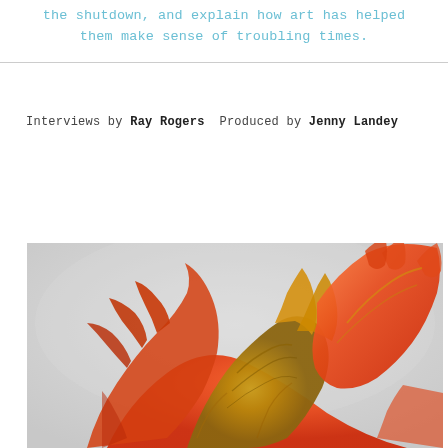the shutdown, and explain how art has helped them make sense of troubling times.
Interviews by Ray Rogers  Produced by Jenny Landey
[Figure (photo): Close-up photograph of a parrot tulip flower with dramatic red and yellow/orange petals with frilled edges against a light grey background. The petals curl and twist dramatically.]